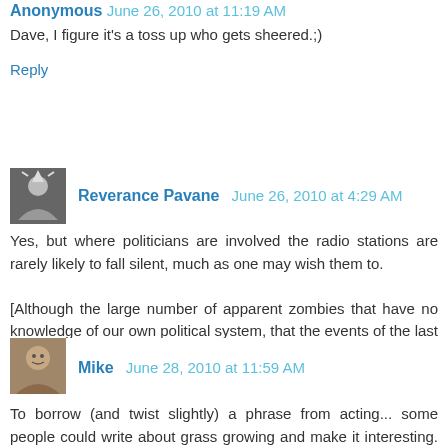Anonymous June 26, 2010 at 11:19 AM
Dave, I figure it's a toss up who gets sheered.;)
Reply
Reverance Pavane June 26, 2010 at 4:29 AM
Yes, but where politicians are involved the radio stations are rarely likely to fall silent, much as one may wish them to.

[Although the large number of apparent zombies that have no knowledge of our own political system, that the events of the last few days have revealed, has been quite astounding really.]
Reply
Mike June 28, 2010 at 11:59 AM
To borrow (and twist slightly) a phrase from acting... some people could write about grass growing and make it interesting. Keep up the good work and let us know what